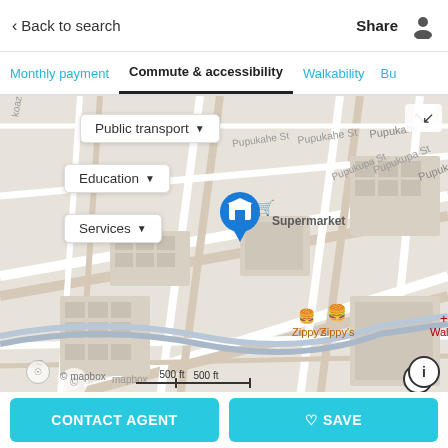< Back to search | Share | user icon
Monthly payment | Commute & accessibility | Walkability | Bu...
[Figure (map): Street map showing a property location pin (blue house icon) near a Supermarket, with street labels Pupukahe St and Pupukupa St, Zippy's restaurant, Walgreens, and route marker 7101. Map overlay dropdowns: Public transport, Education, Services. Mapbox attribution and 500 ft scale bar visible.]
CONTACT AGENT | ♡ SAVE